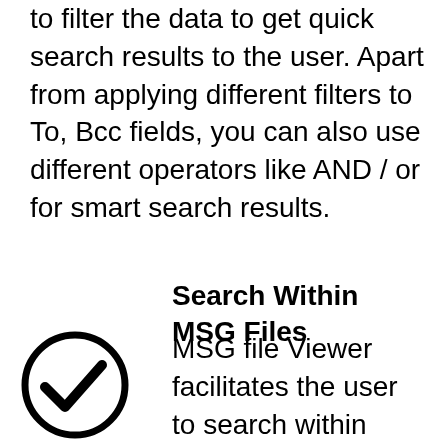to filter the data to get quick search results to the user. Apart from applying different filters to To, Bcc fields, you can also use different operators like AND / or for smart search results.
Search Within MSG Files
[Figure (illustration): Circle with a checkmark icon]
MSG file Viewer facilitates the user to search within emails or attachments. With the advance search option user can filter emails and attachments by using any keyword or phrase. Moreover, users can also add